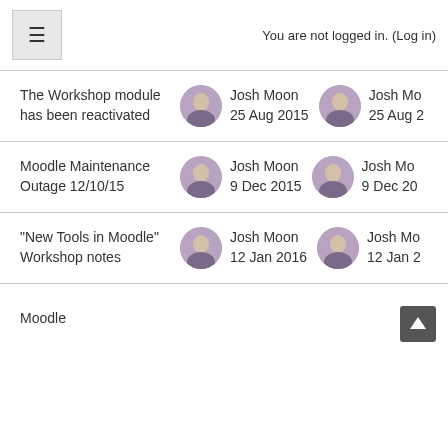You are not logged in. (Log in)
The Workshop module has been reactivated | Josh Moon 25 Aug 2015 | Josh Mo 25 Aug 2
Moodle Maintenance Outage 12/10/15 | Josh Moon 9 Dec 2015 | Josh Mo 9 Dec 20
"New Tools in Moodle" Workshop notes | Josh Moon 12 Jan 2016 | Josh Mo 12 Jan 2
Moodle